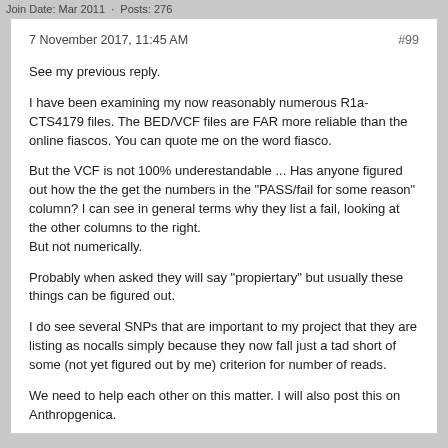Join Date: Mar 2011 · Posts: 276
7 November 2017, 11:45 AM    #99
See my previous reply.
I have been examining my now reasonably numerous R1a-CTS4179 files. The BED/VCF files are FAR more reliable than the online fiascos. You can quote me on the word fiasco.
But the VCF is not 100% underestandable ... Has anyone figured out how the the get the numbers in the "PASS/fail for some reason" column? I can see in general terms why they list a fail, looking at the other columns to the right. But not numerically.
Probably when asked they will say "propiertary" but usually these things can be figured out.
I do see several SNPs that are important to my project that they are listing as nocalls simply because they now fall just a tad short of some (not yet figured out by me) criterion for number of reads.
We need to help each other on this matter. I will also post this on Anthropgenica.